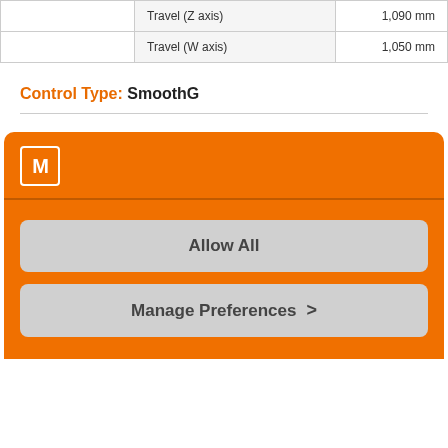|  | Travel (Z axis) | 1,090 mm |
|  | Travel (W axis) | 1,050 mm |
Control Type: SmoothG
[Figure (screenshot): Cookie consent modal with orange background, Mazak M logo, 'Allow All' button and 'Manage Preferences >' button]